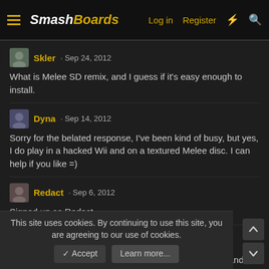SmashBoards — Log in  Register
Skler · Sep 24, 2012
What is Melee SD remix, and I guess if it's easy enough to install.
Dyna · Sep 14, 2012
Sorry for the belated response, I've been kind of busy, but yes, I do play in a hacked Wii and on a textured Melee disc. I can help if you like =)
Redact · Sep 6, 2012
Signed up as Redact
phish-it · Sep 3, 2012
Maybe, I don't know. Depends if I have some free time and feel up to it.
This site uses cookies. By continuing to use this site, you are agreeing to our use of cookies.